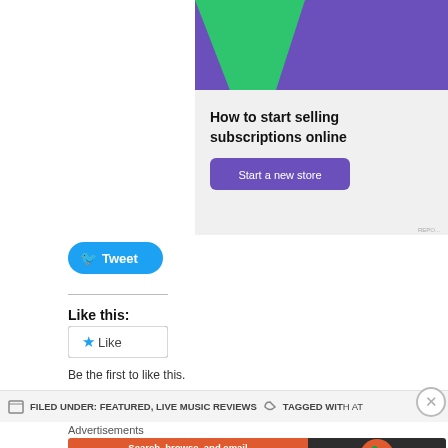[Figure (screenshot): Advertisement banner for an e-commerce subscription service. Shows purple header with green triangle and teal circle decorations. Text reads 'How to start selling subscriptions online' with a purple 'Start a new store' button on a light grey background.]
[Figure (screenshot): Twitter Tweet button in blue rounded rectangle style with bird icon]
Like this:
[Figure (screenshot): WordPress Like button widget with star icon and 'Like' text in a bordered box]
Be the first to like this.
FILED UNDER: FEATURED, LIVE MUSIC REVIEWS    TAGGED WITH AT
Advertisements
[Figure (screenshot): DuckDuckGo advertisement banner. Left side orange with text 'Search, browse, and email with more privacy. All in One Free App'. Right side dark with DuckDuckGo logo.]